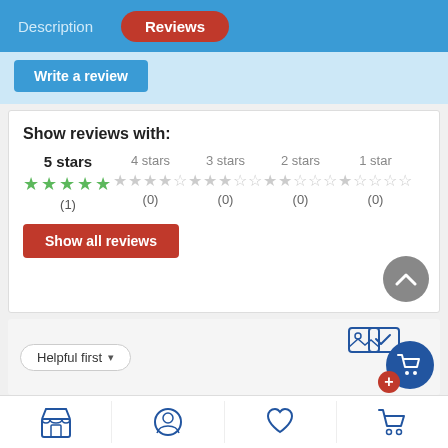Description | Reviews
Write a review
Show reviews with:
5 stars ★★★★★ (1)   4 stars ★★★★☆ (0)   3 stars ★★★☆☆ (0)   2 stars ★★☆☆☆ (0)   1 star ★☆☆☆☆ (0)
Show all reviews
Helpful first ▾
isaiah ortega
03/24/2018, 09:11 PM
[Figure (screenshot): Mobile app bottom navigation bar with store, profile, heart/wishlist, and cart icons]